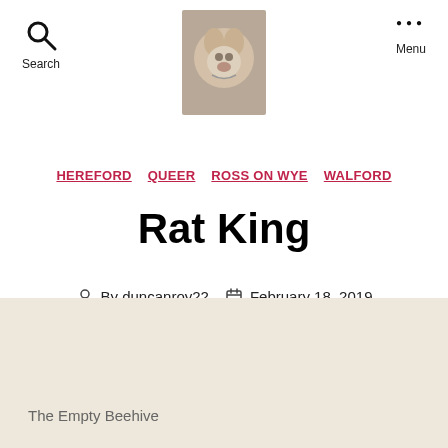Search  [dog photo logo]  Menu
HEREFORD  QUEER  ROSS ON WYE  WALFORD
Rat King
By duncanroy22  February 18, 2019
The Empty Beehive